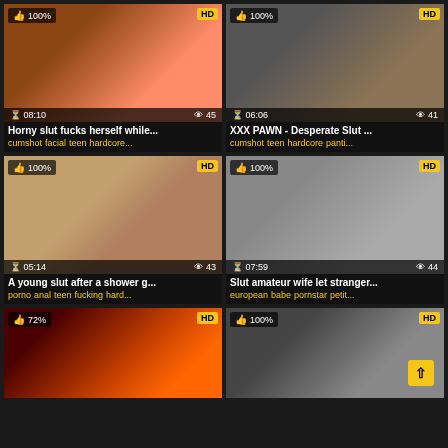[Figure (screenshot): Video thumbnail 1 - 08:10 duration, 45 views, 100% like rating, HD badge]
Horny slut fucks herself while...
cumshot facial teen hardcore...
[Figure (screenshot): Video thumbnail 2 - 06:06 duration, 41 views, 100% like rating, HD badge]
XXX PAWN - Desperate Slut ...
cumshot teen hardcore panti...
[Figure (screenshot): Video thumbnail 3 - 05:14 duration, 43 views, 100% like rating, HD badge]
A young slut after a shower g...
porno anal teen fucking hard...
[Figure (screenshot): Video thumbnail 4 - 07:59 duration, 44 views, 100% like rating, HD badge]
Slut amateur wife let stranger...
european babe pornstar petit...
[Figure (screenshot): Video thumbnail 5 - HD badge, 72% like rating]
[Figure (screenshot): Video thumbnail 6 - HD badge, 100% like rating, scroll-to-top button]